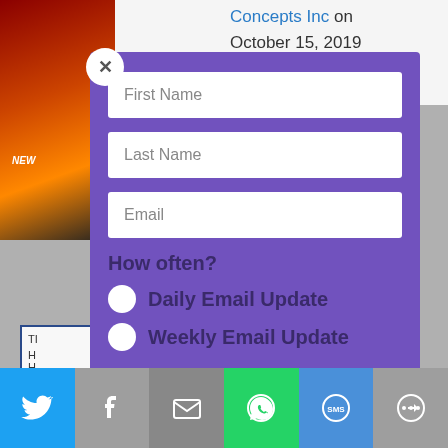[Figure (screenshot): Background webpage with book cover image on left, text content on right including 'Concepts Inc on October 15, 2019' in blue and dark text, and a blue-outlined box at bottom left]
[Figure (screenshot): Modal popup with purple background containing a subscription form with First Name, Last Name, Email fields, How often? radio buttons (Daily Email Update, Weekly Email Update), and a gold SUBSCRIBE! button. A white circular close button (X) appears at top left of modal.]
[Figure (infographic): Social sharing bar at bottom with icons: Twitter (blue), Facebook (gray), Email (gray), WhatsApp (green), SMS (blue), More (gray)]